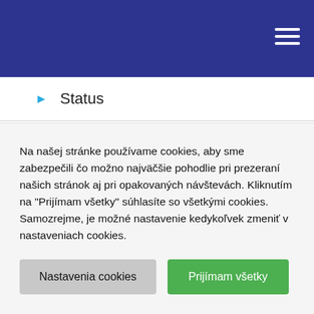Status
Uncategorized
Video
Tags
Na našej stránke používame cookies, aby sme zabezpečili čo možno najväčšie pohodlie pri prezeraní našich stránok aj pri opakovaných návštevách. Kliknutím na "Prijímam všetky" súhlasíte so všetkými cookies. Samozrejme, je možné nastavenie kedykoľvek zmeniť v nastaveniach cookies.
Nastavenia cookies
Prijímam všetky